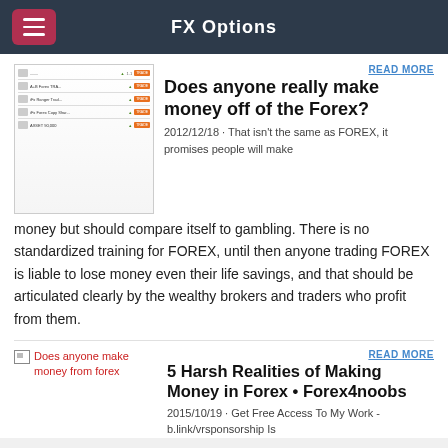FX Options
[Figure (screenshot): Screenshot of a forex trading platform or comparison table showing multiple currency pairs with green arrows and orange buttons]
READ MORE
Does anyone really make money off of the Forex?
2012/12/18 · That isn't the same as FOREX, it promises people will make money but should compare itself to gambling. There is no standardized training for FOREX, until then anyone trading FOREX is liable to lose money even their life savings, and that should be articulated clearly by the wealthy brokers and traders who profit from them.
[Figure (other): Broken image icon with alt text 'Does anyone make money from forex' in red]
READ MORE
5 Harsh Realities of Making Money in Forex • Forex4noobs
2015/10/19 · Get Free Access To My Work - b.link/vrsponsorship Is